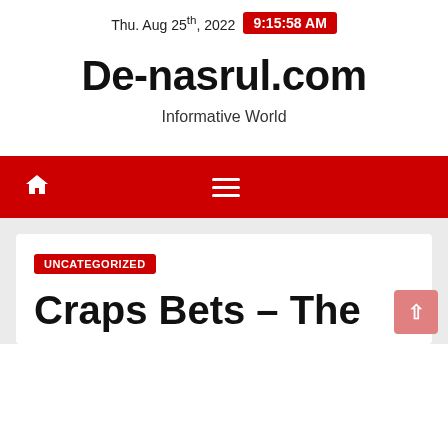Thu. Aug 25th, 2022  9:15:58 AM
De-nasrul.com
Informative World
[Figure (other): Red navigation bar with home icon and hamburger menu icon]
UNCATEGORIZED
Craps Bets – The